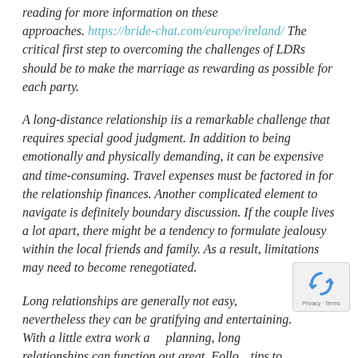reading for more information on these approaches. https://bride-chat.com/europe/ireland/ The critical first step to overcoming the challenges of LDRs should be to make the marriage as rewarding as possible for each party.
A long-distance relationship iis a remarkable challenge that requires special good judgment. In addition to being emotionally and physically demanding, it can be expensive and time-consuming. Travel expenses must be factored in for the relationship finances. Another complicated element to navigate is definitely boundary discussion. If the couple lives a lot apart, there might be a tendency to formulate jealousy within the local friends and family. As a result, limitations may need to become renegotiated.
Long relationships are generally not easy, nevertheless they can be gratifying and entertaining. With a little extra work and planning, long relationships can function out great. Follow tips to make your long-distance relationship a hit. If you p...